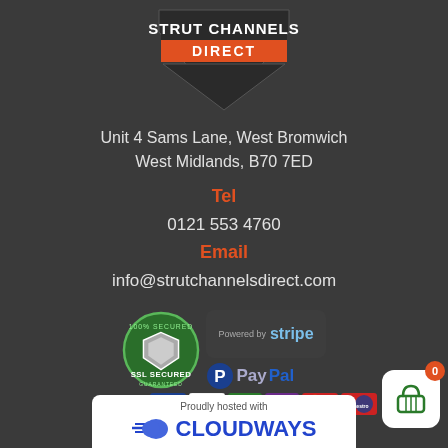[Figure (logo): Strut Channels Direct logo — shield shape with 'STRUT CHANNELS' in white on dark background and 'DIRECT' in white on orange banner]
Unit 4 Sams Lane, West Bromwich
West Midlands, B70 7ED
Tel
0121 553 4760
Email
info@strutchannelsdirect.com
[Figure (logo): SSL Secured green badge, Stripe payment logo, PayPal logo, Delta, Visa, Switch, Solo, MasterCard, Maestro card logos]
[Figure (logo): Cloudways 'Proudly hosted with' banner at bottom]